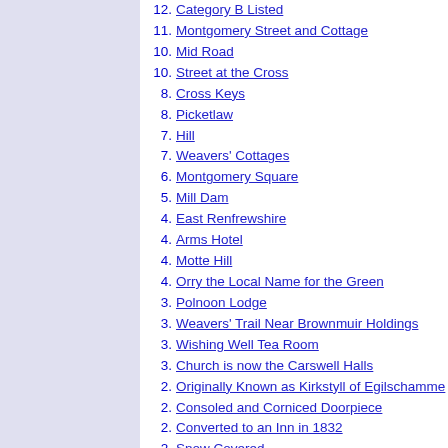12. Category B Listed
11. Montgomery Street and Cottage
10. Mid Road
10. Street at the Cross
8. Cross Keys
8. Picketlaw
7. Hill
7. Weavers' Cottages
6. Montgomery Square
5. Mill Dam
4. East Renfrewshire
4. Arms Hotel
4. Motte Hill
4. Orry the Local Name for the Green
3. Polnoon Lodge
3. Weavers' Trail Near Brownmuir Holdings
3. Wishing Well Tea Room
3. Church is now the Carswell Halls
2. Originally Known as Kirkstyll of Egilschamme
2. Consoled and Corniced Doorpiece
2. Converted to an Inn in 1832
2. Snow Covered
2. Set in a Recess above the